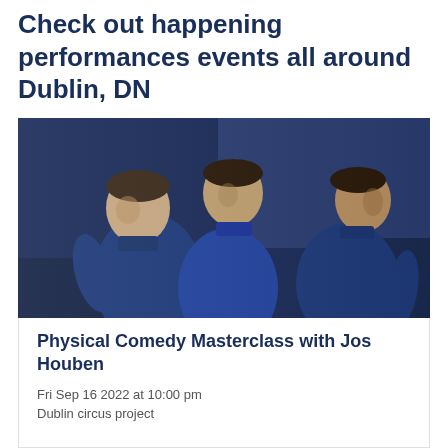Check out happening performances events all around Dublin, DN
[Figure (photo): Three middle-aged men in dark navy blue shirts posed back-to-back against a dark blue background, looking in different directions with serious expressions.]
Physical Comedy Masterclass with Jos Houben
Fri Sep 16 2022 at 10:00 pm
Dublin circus project